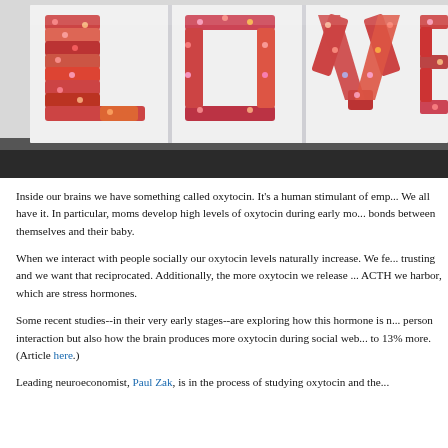[Figure (photo): A photo of letters spelling 'LOVE' made of colorful flowers arranged on a white wall. Only 'LOV' and a partial 'E' are visible, photographed from below at an angle.]
Inside our brains we have something called oxytocin. It's a human stimulant of emp... We all have it. In particular, moms develop high levels of oxytocin during early mo... bonds between themselves and their baby.
When we interact with people socially our oxytocin levels naturally increase. We fe... trusting and we want that reciprocated. Additionally, the more oxytocin we release ... ACTH we harbor, which are stress hormones.
Some recent studies--in their very early stages--are exploring how this hormone is n... person interaction but also how the brain produces more oxytocin during social web... to 13% more. (Article here.)
Leading neuroeconomist, Paul Zak, is in the process of studying oxytocin and the...